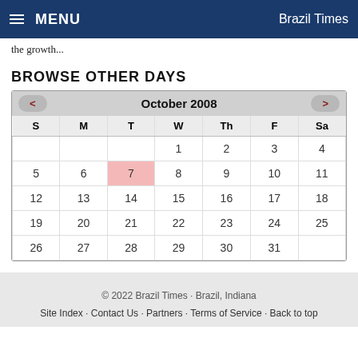MENU | Brazil Times
the growth...
BROWSE OTHER DAYS
| S | M | T | W | Th | F | Sa |
| --- | --- | --- | --- | --- | --- | --- |
|  |  |  | 1 | 2 | 3 | 4 |
| 5 | 6 | 7 | 8 | 9 | 10 | 11 |
| 12 | 13 | 14 | 15 | 16 | 17 | 18 |
| 19 | 20 | 21 | 22 | 23 | 24 | 25 |
| 26 | 27 | 28 | 29 | 30 | 31 |  |
© 2022 Brazil Times · Brazil, Indiana
Site Index · Contact Us · Partners · Terms of Service · Back to top